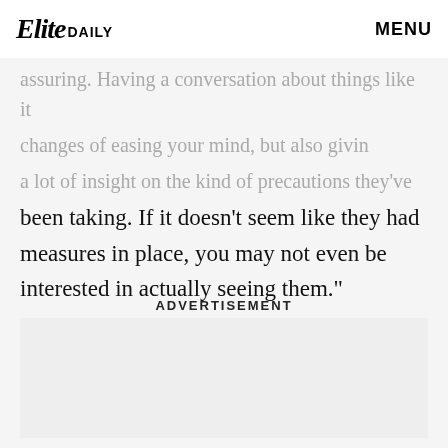Elite DAILY  MENU
assuring. Having a conversation about things like it changes of easing your mind, but also giving a lot of insight on the kind of precautions they've been taking. If it doesn't seem like they had measures in place, you may not even be interested in actually seeing them.”
ADVERTISEMENT